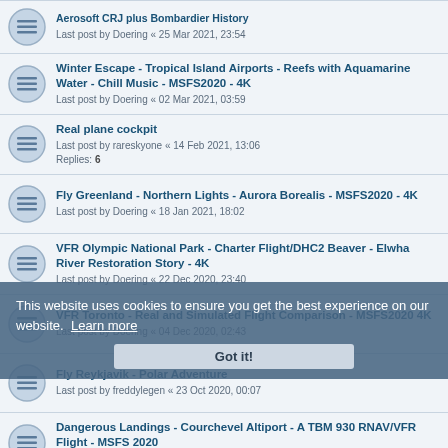Aerosoft CRJ plus Bombardier History
Last post by Doering « 25 Mar 2021, 23:54
Winter Escape - Tropical Island Airports - Reefs with Aquamarine Water - Chill Music - MSFS2020 - 4K
Last post by Doering « 02 Mar 2021, 03:59
Real plane cockpit
Last post by rareskyone « 14 Feb 2021, 13:06
Replies: 6
Fly Greenland - Northern Lights - Aurora Borealis - MSFS2020 - 4K
Last post by Doering « 18 Jan 2021, 18:02
VFR Olympic National Park - Charter Flight/DHC2 Beaver - Elwha River Restoration Story - 4K
Last post by Doering « 22 Dec 2020, 23:40
VFR Toronto - Real and Simulated Flight Comparison - MSFS2020 4K
Last post by Doering « 04 Dec 2020, 02:43
Fly Reykjavik - Polar Adventure
Last post by freddylegen « 23 Oct 2020, 00:07
Dangerous Landings - Courchevel Altiport - A TBM 930 RNAV/VFR Flight - MSFS 2020
Last post by Doering « 22 Oct 2020, 04:14
MICROSOFT FLIGHT SIMULATOR | Landing Challenges | #03
Last post by VirtualWings « 07 Oct 2020, 17:00
This website uses cookies to ensure you get the best experience on our website. Learn more
Got it!